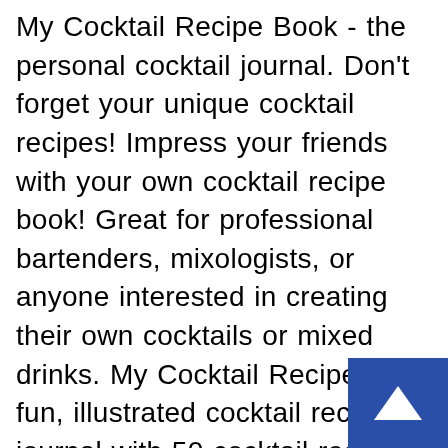My Cocktail Recipe Book - the personal cocktail journal. Don't forget your unique cocktail recipes! Impress your friends with your own cocktail recipe book! Great for professional bartenders, mixologists, or anyone interested in creating their own cocktails or mixed drinks. My Cocktail Recipes is a fun, illustrated cocktail recipe journal with 50 cocktail recipe pages. Conveniently sized at 6x9 inches, it's perfect to carry with you to parties or on your travels. Great for home bartenders and professional mixologists Four pages dedicated for Contents with Stars Rating System 100 crisp white pages for cocktail recipes Professional designed paperback glossy cover Perfect size: 6' x 9',